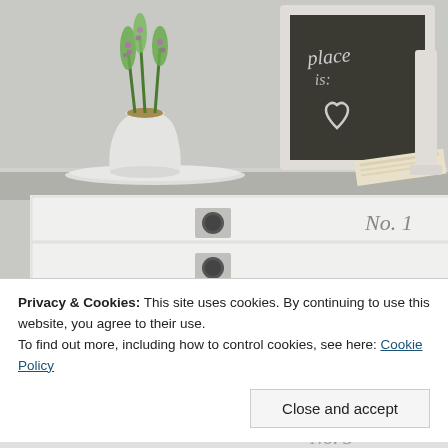[Figure (photo): Interior home decor photo showing white drawers labeled 'No. 1' with round metal pulls, a white vase with green hyacinth plants, a chalkboard with handwritten text and a heart drawing, and a folded newspaper on a gray shelf surface.]
Privacy & Cookies: This site uses cookies. By continuing to use this website, you agree to their use.
To find out more, including how to control cookies, see here: Cookie Policy
Close and accept
[Figure (photo): Bottom portion of another interior decor photo showing 'No. 3' text on a white surface.]